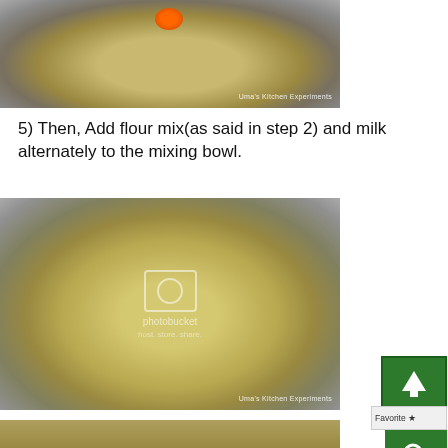[Figure (photo): A mixing bowl with butter/cream mixture and an egg being added, watermarked 'Uma's Kitchen Experiments']
5) Then, Add flour mix(as said in step 2) and milk alternately to the mixing bowl.
[Figure (photo): A mixing bowl with flour and butter mixture being combined, with photobucket watermark and 'Uma's Kitchen Experiments' watermark]
[Figure (photo): Partial view of another step photo at the bottom of the page]